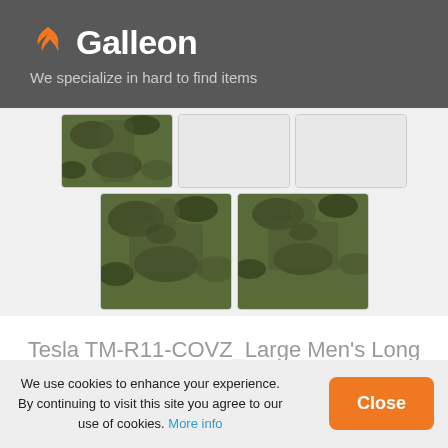Galleon – We specialize in hard to find items
[Figure (photo): Product thumbnail images of a men's camouflage compression long sleeve shirt shown from multiple angles]
Tesla TM-R11-COVZ_Large Men's Long Sleeve T-Shirt Baselayer Cool Dry Compression Top R11
We use cookies to enhance your experience. By continuing to visit this site you agree to our use of cookies. More info